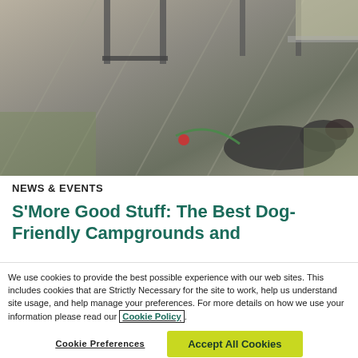[Figure (photo): Photo of a dog lying on a gray mat/rug outdoors near camping chairs and a vehicle, viewed from above]
NEWS & EVENTS
S'More Good Stuff: The Best Dog-Friendly Campgrounds and
We use cookies to provide the best possible experience with our web sites. This includes cookies that are Strictly Necessary for the site to work, help us understand site usage, and help manage your preferences. For more details on how we use your information please read our Cookie Policy.
Cookie Preferences
Accept All Cookies